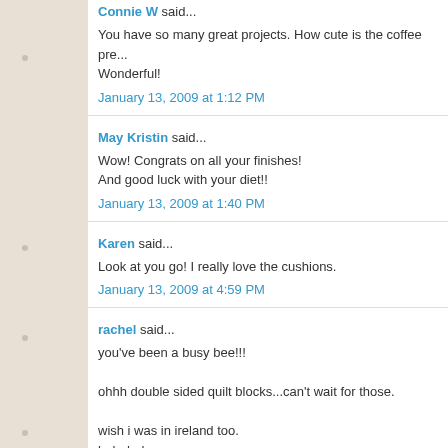Connie W said...
You have so many great projects. How cute is the coffee pre... Wonderful!
January 13, 2009 at 1:12 PM
May Kristin said...
Wow! Congrats on all your finishes!
And good luck with your diet!!
January 13, 2009 at 1:40 PM
Karen said...
Look at you go! I really love the cushions.
January 13, 2009 at 4:59 PM
rachel said...
you've been a busy bee!!!

ohhh double sided quilt blocks...can't wait for those.

wish i was in ireland too.
hahahaha.